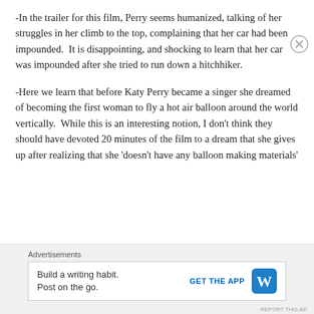-In the trailer for this film, Perry seems humanized, talking of her struggles in her climb to the top, complaining that her car had been impounded.  It is disappointing, and shocking to learn that her car was impounded after she tried to run down a hitchhiker.
-Here we learn that before Katy Perry became a singer she dreamed of becoming the first woman to fly a hot air balloon around the world vertically.  While this is an interesting notion, I don't think they should have devoted 20 minutes of the film to a dream that she gives up after realizing that she 'doesn't have any balloon making materials'
Advertisements
Build a writing habit. Post on the go. GET THE APP